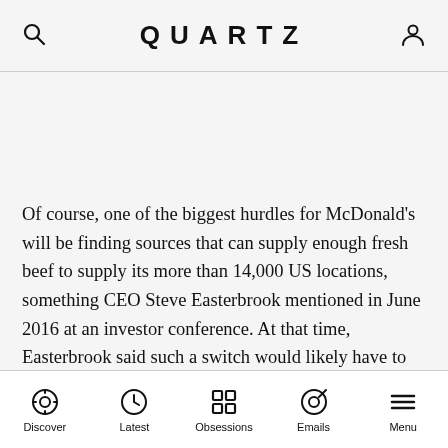QUARTZ
Of course, one of the biggest hurdles for McDonald’s will be finding sources that can supply enough fresh beef to supply its more than 14,000 US locations, something CEO Steve Easterbrook mentioned in June 2016 at an investor conference. At that time, Easterbrook said such a switch would likely have to take place in phases, like the company did when it changed to using only cage-free eggs.
Discover | Latest | Obsessions | Emails | Menu